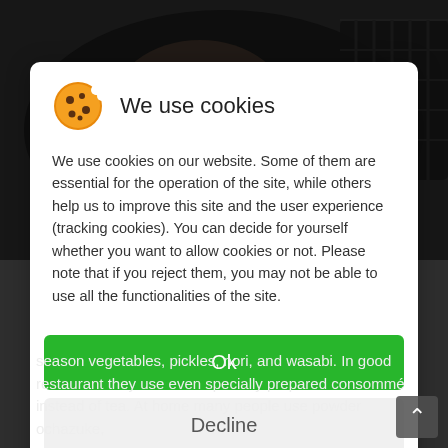[Figure (photo): Dark background photo of food in a pan/wok, partially visible behind cookie consent modal]
We use cookies
We use cookies on our website. Some of them are essential for the operation of the site, while others help us to improve this site and the user experience (tracking cookies). You can decide for yourself whether you want to allow cookies or not. Please note that if you reject them, you may not be able to use all the functionalities of the site.
Ok
Decline
season vegetables, pickles, nori, and wasabi. In good restaurant they use even specially prepared consommé instead of tea. At home many people use powder ochazuke,